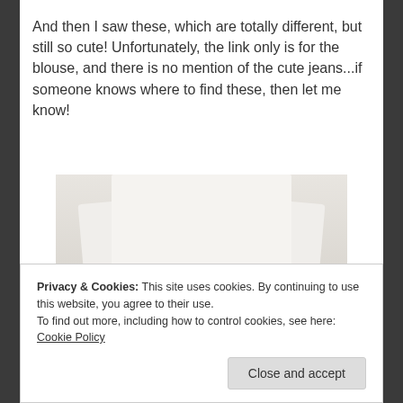And then I saw these, which are totally different, but still so cute! Unfortunately, the link only is for the blouse, and there is no mention of the cute jeans...if someone knows where to find these, then let me know!
[Figure (photo): Fashion photo showing a person wearing a white long-sleeve blouse with cuffed sleeves tucked into leopard-print jeans]
Privacy & Cookies: This site uses cookies. By continuing to use this website, you agree to their use.
To find out more, including how to control cookies, see here: Cookie Policy
Close and accept